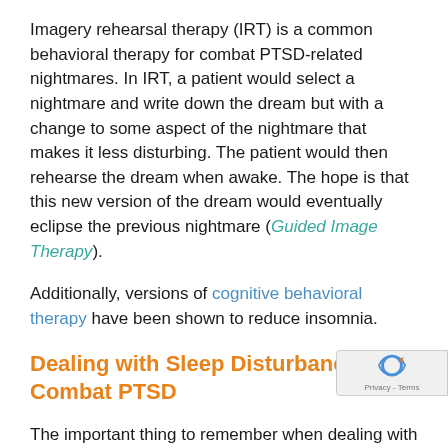Imagery rehearsal therapy (IRT) is a common behavioral therapy for combat PTSD-related nightmares. In IRT, a patient would select a nightmare and write down the dream but with a change to some aspect of the nightmare that makes it less disturbing. The patient would then rehearse the dream when awake. The hope is that this new version of the dream would eventually eclipse the previous nightmare (Guided Image Therapy).
Additionally, versions of cognitive behavioral therapy have been shown to reduce insomnia.
Dealing with Sleep Disturbances in Combat PTSD
The important thing to remember when dealing with sleep disturbances in combat PTSD is that they are important to deal with and will harm your health if untreated. So make sure you tell your healthcare p... about any sleep disturbances you may be experiencing...